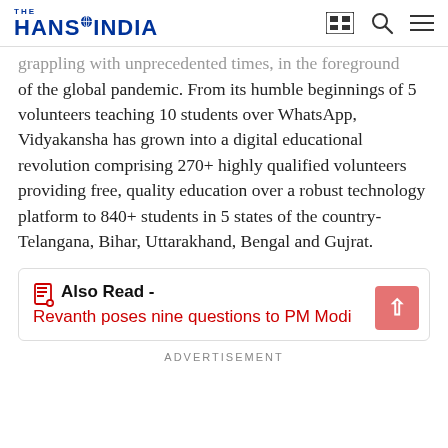THE HANS INDIA
grappling with unprecedented times, in the foreground of the global pandemic. From its humble beginnings of 5 volunteers teaching 10 students over WhatsApp, Vidyakansha has grown into a digital educational revolution comprising 270+ highly qualified volunteers providing free, quality education over a robust technology platform to 840+ students in 5 states of the country- Telangana, Bihar, Uttarakhand, Bengal and Gujrat.
Also Read - Revanth poses nine questions to PM Modi
ADVERTISEMENT